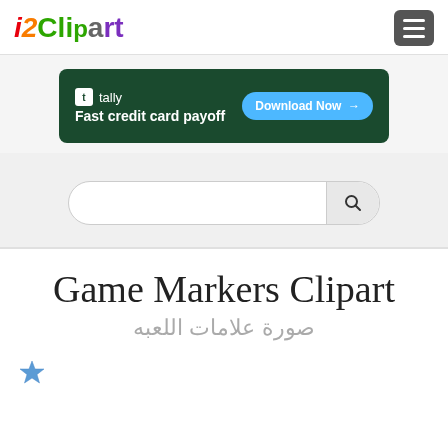i2Clipart
[Figure (screenshot): Tally app advertisement banner: dark green background with Tally logo, text 'Fast credit card payoff', and a blue 'Download Now →' button]
[Figure (screenshot): Search bar with magnifying glass icon on light gray background]
Game Markers Clipart
صورة علامات اللعبه